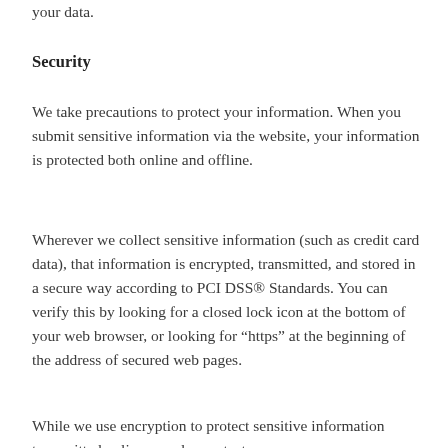your data.
Security
We take precautions to protect your information. When you submit sensitive information via the website, your information is protected both online and offline.
Wherever we collect sensitive information (such as credit card data), that information is encrypted, transmitted, and stored in a secure way according to PCI DSS® Standards. You can verify this by looking for a closed lock icon at the bottom of your web browser, or looking for “https” at the beginning of the address of secured web pages.
While we use encryption to protect sensitive information transmitted online, we also protect your